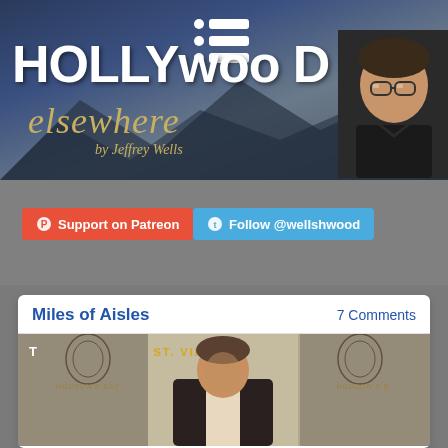[Figure (screenshot): Hollywood Elsewhere blog header banner with dark blue/grey mountain background, hamburger menu icon at top center, large white bold HOLLYWOOD text, golden italic 'elsewhere by Jeffrey Wells' text, and a photo of Jeffrey Wells (man with glasses) on the right side]
[Figure (screenshot): Support on Patreon (orange/red button with Patreon icon) and Follow @wellshwood (blue Twitter button) on grey background]
Miles of Aisles
7 Comments
[Figure (photo): Event photo of a man (Bill Murray) at a ST. VINCENT premiere/event with HUDSON'S BAY banners in background]